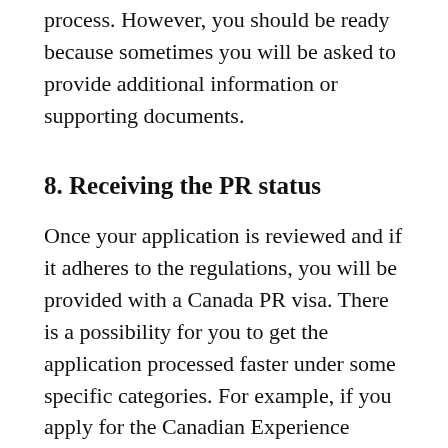process. However, you should be ready because sometimes you will be asked to provide additional information or supporting documents.
8. Receiving the PR status
Once your application is reviewed and if it adheres to the regulations, you will be provided with a Canada PR visa. There is a possibility for you to get the application processed faster under some specific categories. For example, if you apply for the Canadian Experience Class, there is a high possibility for you to get your application processed within three to four